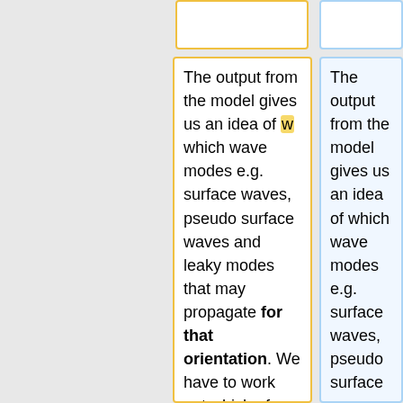The output from the model gives us an idea of w which wave modes e.g. surface waves, pseudo surface waves and leaky modes that may propagate for that orientation. We have to work out which of these our experiment will be sensitive to and that depends on he type of detector used. for example our current detector
The output from the model gives us an idea of which wave modes e.g. surface waves, pseudo surface waves and leaky modes that may propagate across a given crystallographic plane. We have to work out which of these our experiment will be sensitive to and that depends on the type of detector used. For example, our